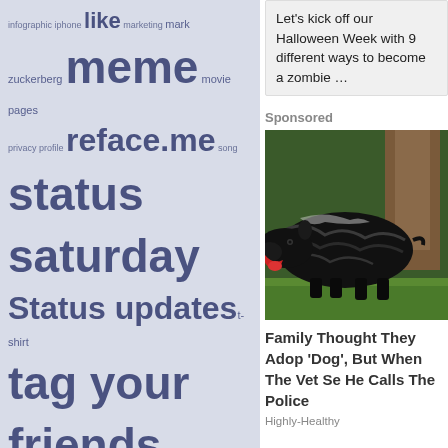[Figure (infographic): Word cloud with Facebook/social media related terms in varying sizes on a light blue-gray background. Terms include: infographic, iphone, like, marketing, mark, zuckerberg, meme, movie, pages, privacy, profile, reface.me, song, status saturday, Status updates, t-shirt, tag your friends, tweet, twitter, twitter tuesday, udfd, upside down, Video]
Let's kick off our Halloween Week with 9 different ways to become a zombie …
Sponsored
[Figure (photo): Photo of a large black tapir standing on grass in front of a tree, mouth open showing tongue]
Family Thought They Adopted A 'Dog', But When The Vet Sees It He Calls The Police
Highly-Healthy